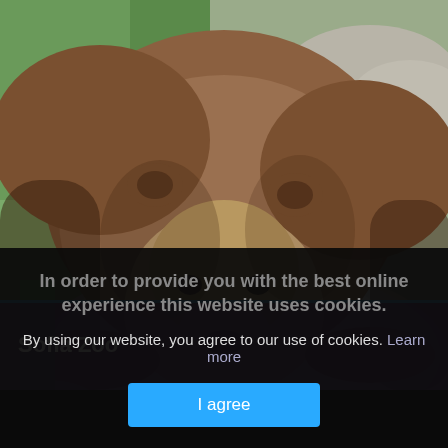[Figure (photo): A large brown bear resting its head and front paws on a large gray rock, with green grass and rocky ground in the background. The bear is looking directly at the camera.]
Sofia Zoo
In order to provide you with the best online experience this website uses cookies.
By using our website, you agree to our use of cookies. Learn more
I agree